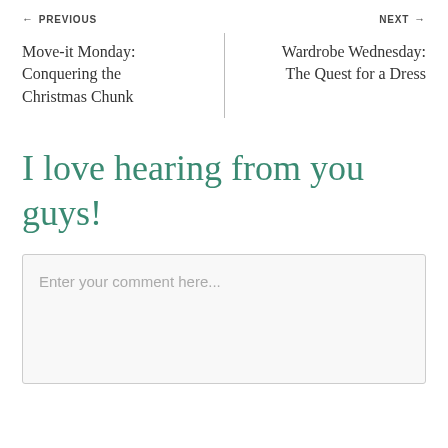← PREVIOUS   NEXT →
Move-it Monday: Conquering the Christmas Chunk
Wardrobe Wednesday: The Quest for a Dress
I love hearing from you guys!
Enter your comment here...